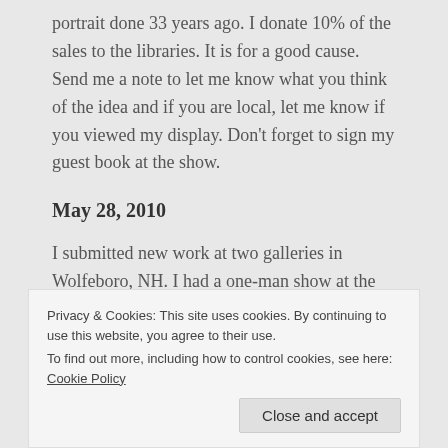portrait done 33 years ago. I donate 10% of the sales to the libraries. It is for a good cause. Send me a note to let me know what you think of the idea and if you are local, let me know if you viewed my display. Don't forget to sign my guest book at the show.
May 28, 2010
I submitted new work at two galleries in Wolfeboro, NH. I had a one-man show at the
Privacy & Cookies: This site uses cookies. By continuing to use this website, you agree to their use.
To find out more, including how to control cookies, see here: Cookie Policy